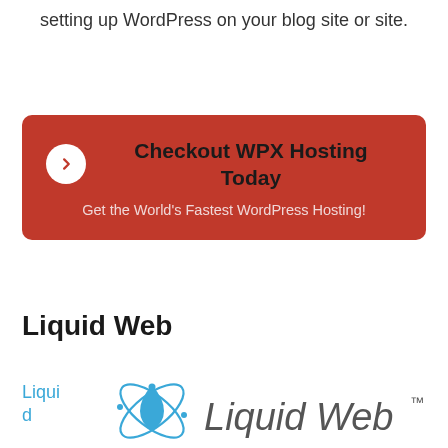setting up WordPress on your blog site or site.
[Figure (infographic): Red rounded rectangle banner with a white circle arrow icon on the left, bold dark text 'Checkout WPX Hosting Today' and lighter text 'Get the World’s Fastest WordPress Hosting!']
Liquid Web
Liquid d
[Figure (logo): Liquid Web logo: blue water drop with orbiting electrons above text 'Liquid Web' with TM mark]